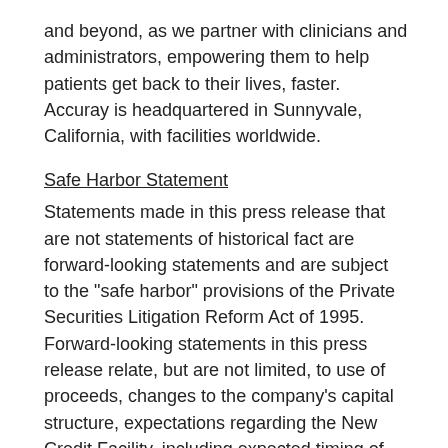and beyond, as we partner with clinicians and administrators, empowering them to help patients get back to their lives, faster. Accuray is headquartered in Sunnyvale, California, with facilities worldwide.
Safe Harbor Statement
Statements made in this press release that are not statements of historical fact are forward-looking statements and are subject to the "safe harbor" provisions of the Private Securities Litigation Reform Act of 1995. Forward-looking statements in this press release relate, but are not limited, to use of proceeds, changes to the company's capital structure, expectations regarding the New Credit Facility, including expected timing of closing and satisfaction of conditions precedent as well as amounts drawn at closing. These forward-looking